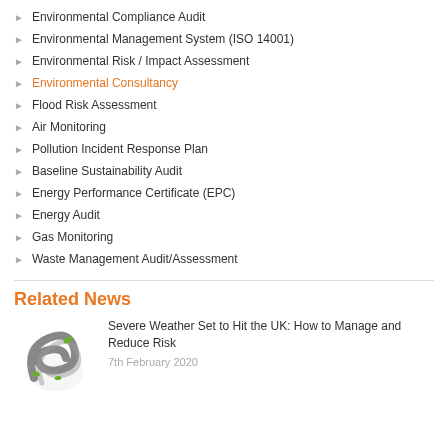Environmental Compliance Audit
Environmental Management System (ISO 14001)
Environmental Risk / Impact Assessment
Environmental Consultancy
Flood Risk Assessment
Air Monitoring
Pollution Incident Response Plan
Baseline Sustainability Audit
Energy Performance Certificate (EPC)
Energy Audit
Gas Monitoring
Waste Management Audit/Assessment
Related News
Severe Weather Set to Hit the UK: How to Manage and Reduce Risk
7th February 2020
[Figure (logo): Swirling grey and green wind/leaf logo]